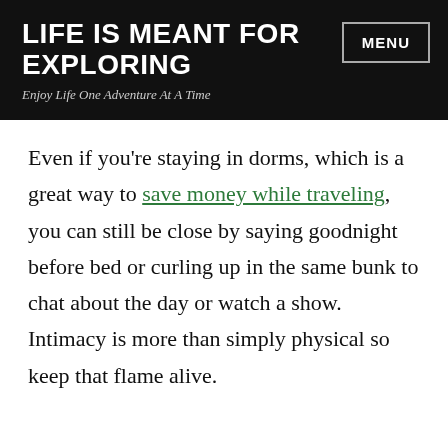LIFE IS MEANT FOR EXPLORING
Enjoy Life One Adventure At A Time
Even if you're staying in dorms, which is a great way to save money while traveling, you can still be close by saying goodnight before bed or curling up in the same bunk to chat about the day or watch a show. Intimacy is more than simply physical so keep that flame alive.